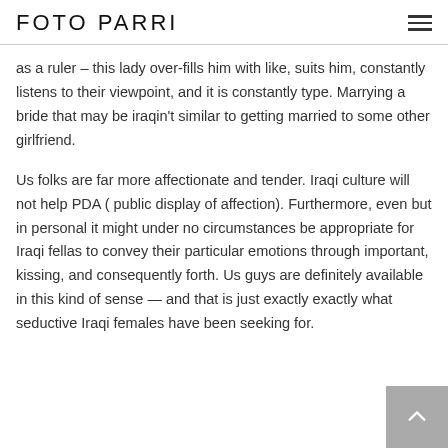FOTO PARRI
as a ruler – this lady over-fills him with like, suits him, constantly listens to their viewpoint, and it is constantly type. Marrying a bride that may be iraqin't similar to getting married to some other girlfriend.
Us folks are far more affectionate and tender. Iraqi culture will not help PDA ( public display of affection). Furthermore, even but in personal it might under no circumstances be appropriate for Iraqi fellas to convey their particular emotions through important, kissing, and consequently forth. Us guys are definitely available in this kind of sense — and that is just exactly exactly what seductive Iraqi females have been seeking for.